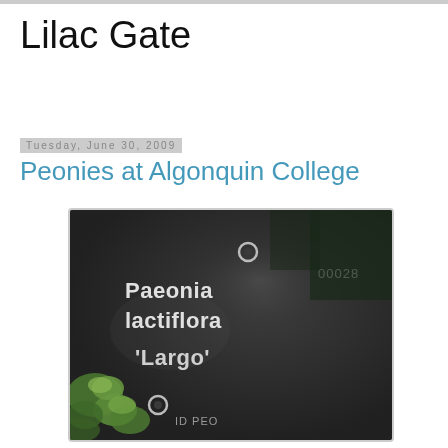Lilac Gate
Tuesday, June 30, 2009
Peonies at Algonquin College
[Figure (photo): Close-up photograph of a dark slate plant identification sign reading 'Paeonia lactiflora Largo' with the number 00028, with green foliage visible in the lower left corner.]